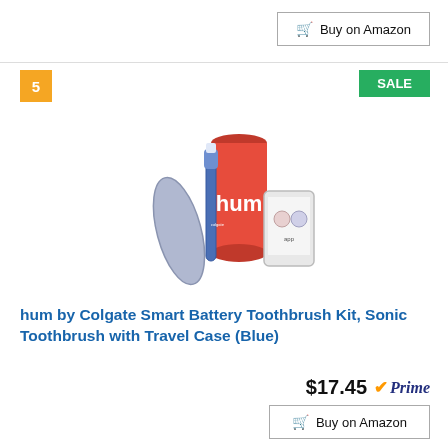Buy on Amazon
5
SALE
[Figure (photo): hum by Colgate Smart Battery Toothbrush Kit product photo showing blue toothbrush, travel case, red cylindrical packaging, and smartphone app]
hum by Colgate Smart Battery Toothbrush Kit, Sonic Toothbrush with Travel Case (Blue)
$17.45 Prime
Buy on Amazon